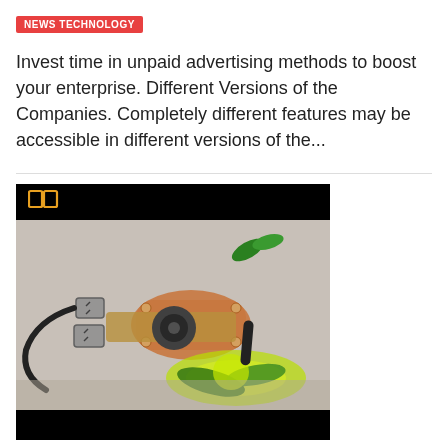NEWS TECHNOLOGY
Invest time in unpaid advertising methods to boost your enterprise. Different Versions of the Companies. Completely different features may be accessible in different versions of the...
[Figure (photo): A steampunk mechanical device glowing green, with copper and metal parts, wires, and decorative elements on a grey surface. Black header bar with open-book icon at top, black footer bar at bottom.]
GK Digital Media